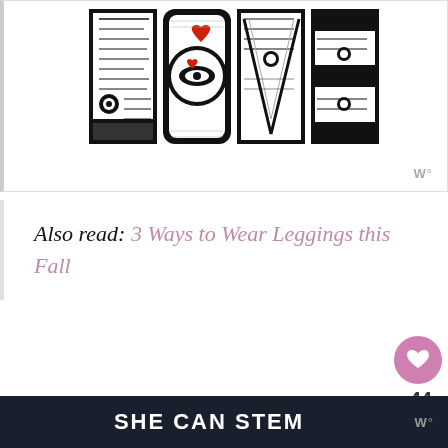[Figure (illustration): Black and white intricate LOVE lettering artwork with decorative patterns inside each letter, small red heart accent on the O]
Also read: 3 Ways to Wear Leggings this Fall
Tech/Touchscreen Gloves
[Figure (photo): Partial bottom strip of an article image]
SHE CAN STEM